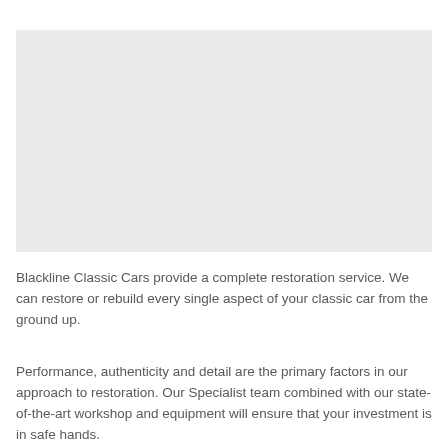[Figure (photo): Large image placeholder area, light gray background, no visible content]
Blackline Classic Cars provide a complete restoration service. We can restore or rebuild every single aspect of your classic car from the ground up.
Performance, authenticity and detail are the primary factors in our approach to restoration. Our Specialist team combined with our state-of-the-art workshop and equipment will ensure that your investment is in safe hands.